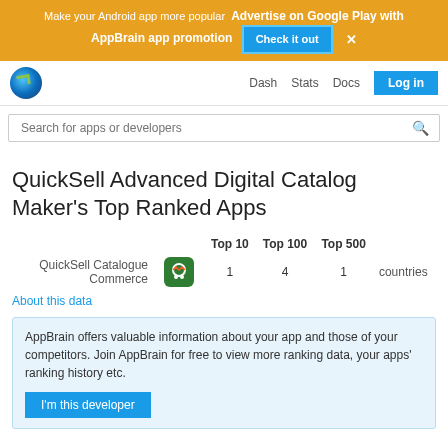Make your Android app more popular Advertise on Google Play with AppBrain app promotion Check it out ×
Dash Stats Docs Log in
Search for apps or developers
QuickSell Advanced Digital Catalog Maker's Top Ranked Apps
|  |  | Top 10 | Top 100 | Top 500 |  |
| --- | --- | --- | --- | --- | --- |
| QuickSell Catalogue Commerce | [icon] | 1 | 4 | 1 | countries |
About this data
AppBrain offers valuable information about your app and those of your competitors. Join AppBrain for free to view more ranking data, your apps' ranking history etc.
I'm this developer